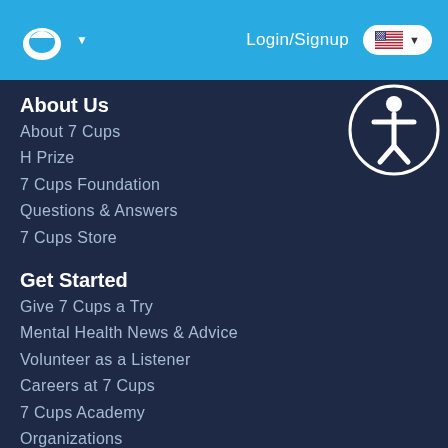7 Cups Logo | Login/Signup | US Flag
About Us
About 7 Cups
H Prize
7 Cups Foundation
Questions & Answers
7 Cups Store
Get Started
Give 7 Cups a Try
Mental Health News & Advice
Volunteer as a Listener
Careers at 7 Cups
7 Cups Academy
Organizations
Our Support Community
Online Therapy
Considering Therapy?
Online Therapy at 7 Cups